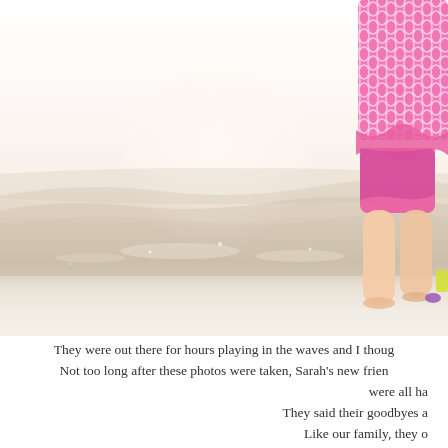[Figure (photo): A child in a pink patterned swimsuit standing at the beach shoreline. The photo is brightly lit/overexposed with a hazy white background. The child's legs and lower body are visible on the right side, standing near the water's edge. Waves wash up on the sandy shore in the foreground.]
They were out there for hours playing in the waves and I thoug...
Not too long after these photos were taken, Sarah's new frien...
were all ha...
They said their goodbyes a...
Like our family, they o...